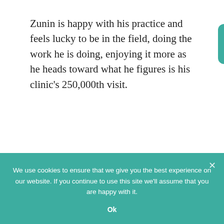Zunin is happy with his practice and feels lucky to be in the field, doing the work he is doing, enjoying it more as he heads toward what he figures is his clinic's 250,000th visit.
Under health reform, more labor-intensive,
integrative practices
We use cookies to ensure that we give you the best experience on our website. If you continue to use this site we'll assume that you are happy with it.
Ok